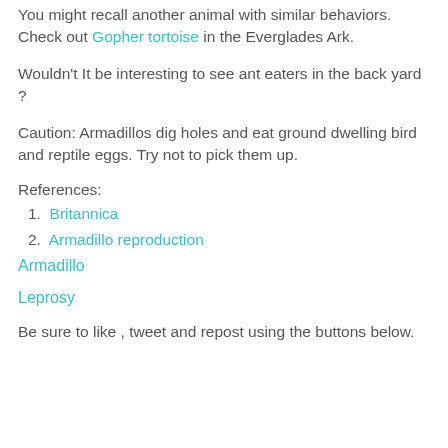You might recall another animal with similar behaviors. Check out Gopher tortoise in the Everglades Ark.
Wouldn't It be interesting to see ant eaters in the back yard ?
Caution: Armadillos dig holes and eat ground dwelling bird and reptile eggs. Try not to pick them up.
References:
1. Britannica
2. Armadillo reproduction
Armadillo
Leprosy
Be sure to like , tweet and repost using the buttons below.